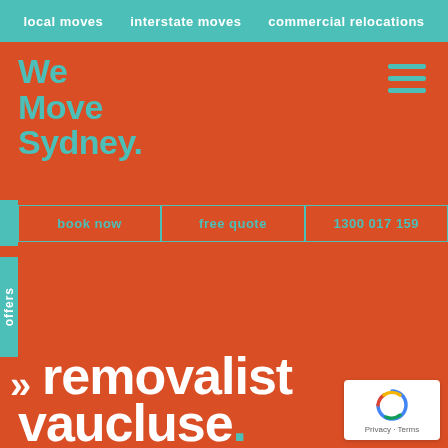local moves   interstate moves   commercial relocations
We Move Sydney.
book now   free quote   1300 017 159
offers
removalist vaucluse.
we move sydney prides itself on transparent removal prices sydney.